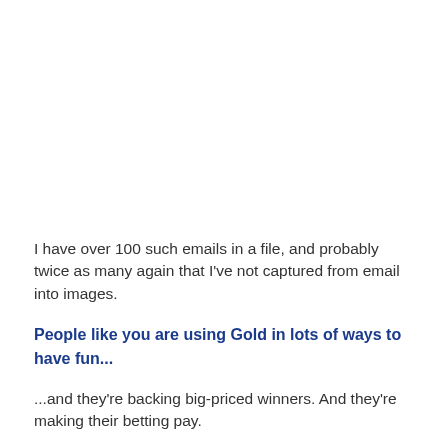I have over 100 such emails in a file, and probably twice as many again that I've not captured from email into images.
People like you are using Gold in lots of ways to have fun...
...and they're backing big-priced winners. And they're making their betting pay.
Good luck with your betting. First and foremost, enjoy